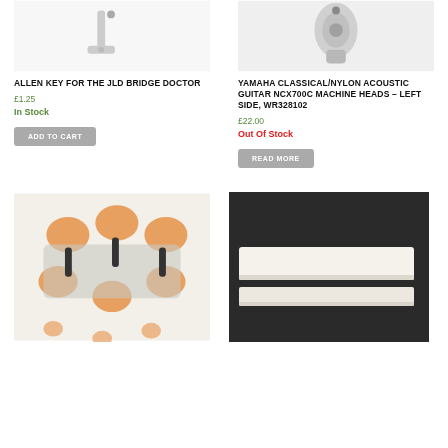[Figure (photo): Allen key / small metal tool photo cropped at top, white background]
ALLEN KEY FOR THE JLD BRIDGE DOCTOR
£1.25
In Stock
ADD TO CART
[Figure (photo): Yamaha classical guitar machine head tuner, silver metal piece on white background]
YAMAHA CLASSICAL/NYLON ACOUSTIC GUITAR NCX700C MACHINE HEADS – LEFT SIDE, WR328102
£22.00
Out Of Stock
READ MORE
[Figure (photo): Guitar machine heads/tuners with orange pearloid buttons and silver hardware]
[Figure (photo): White plastic guitar nut or bone nut piece on dark background]